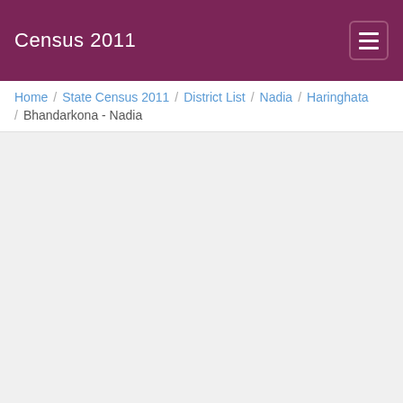Census 2011
Home / State Census 2011 / District List / Nadia / Haringhata / Bhandarkona - Nadia